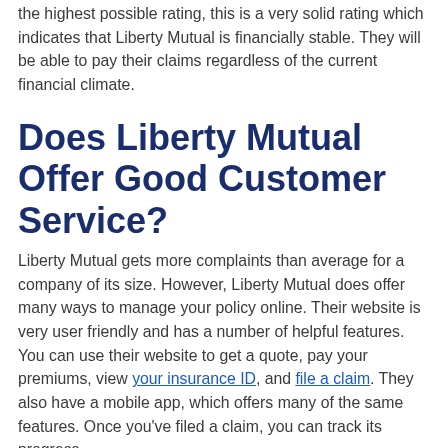the highest possible rating, this is a very solid rating which indicates that Liberty Mutual is financially stable. They will be able to pay their claims regardless of the current financial climate.
Does Liberty Mutual Offer Good Customer Service?
Liberty Mutual gets more complaints than average for a company of its size. However, Liberty Mutual does offer many ways to manage your policy online. Their website is very user friendly and has a number of helpful features. You can use their website to get a quote, pay your premiums, view your insurance ID, and file a claim. They also have a mobile app, which offers many of the same features. Once you've filed a claim, you can track its progress